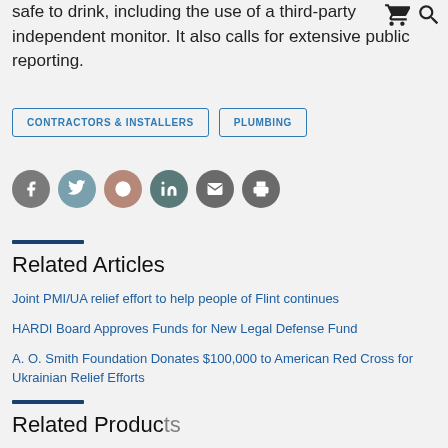safe to drink, including the use of a third-party independent monitor. It also calls for extensive public reporting.
CONTRACTORS & INSTALLERS  PLUMBING
[Figure (infographic): Social sharing icons: Facebook (dark gray), Twitter (teal gray), Reddit (dusty rose), LinkedIn (dark teal), Email (dark gray), Print (dark gray)]
Related Articles
Joint PMI/UA relief effort to help people of Flint continues
HARDI Board Approves Funds for New Legal Defense Fund
A. O. Smith Foundation Donates $100,000 to American Red Cross for Ukrainian Relief Efforts
Related Products